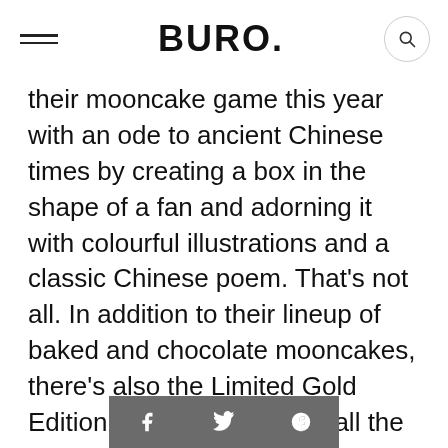BURO.
their mooncake game this year with an ode to ancient Chinese times by creating a box in the shape of a fan and adorning it with colourful illustrations and a classic Chinese poem. That's not all. In addition to their lineup of baked and chocolate mooncakes, there's also the Limited Gold Edition Mooncakes. Since all the baked mooncakes are halal-certified, they'll make a perfect gift for everyone.